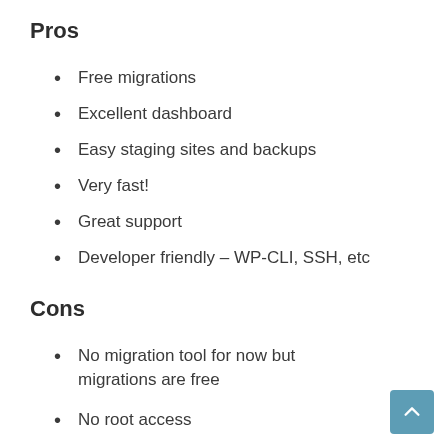Pros
Free migrations
Excellent dashboard
Easy staging sites and backups
Very fast!
Great support
Developer friendly – WP-CLI, SSH, etc
Cons
No migration tool for now but migrations are free
No root access